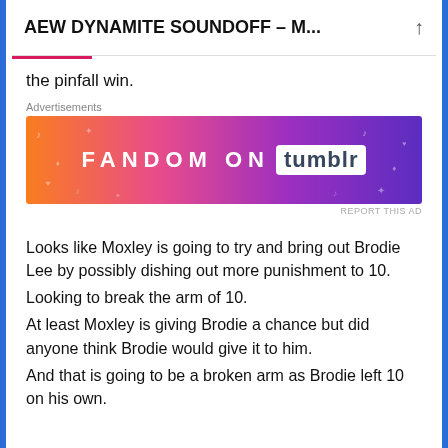AEW DYNAMITE SOUNDOFF – M...
the pinfall win.
[Figure (other): Fandom on Tumblr advertisement banner with orange to purple gradient background and decorative music/heart icons]
Looks like Moxley is going to try and bring out Brodie Lee by possibly dishing out more punishment to 10. Looking to break the arm of 10. At least Moxley is giving Brodie a chance but did anyone think Brodie would give it to him. And that is going to be a broken arm as Brodie left 10 on his own.